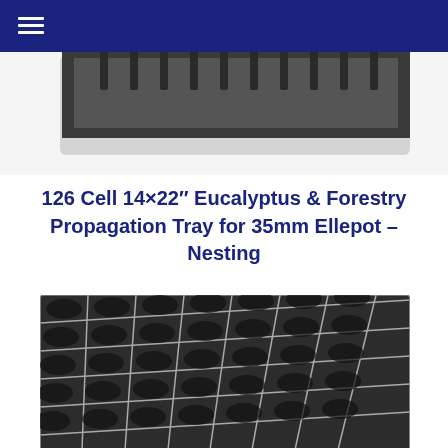[Figure (photo): Top-down angled view of a dark gray plastic propagation tray with tall cell dividers and ridged sides, shown against a white background. A dark navy navigation bar with a hamburger menu icon overlays the top portion.]
126 Cell 14×22″ Eucalyptus & Forestry Propagation Tray for 35mm Ellepot – Nesting
[Figure (photo): Close-up angled view of a black plastic propagation tray showing a grid of square cells with brushed fibrous material inside each cell, and a gray frame border.]